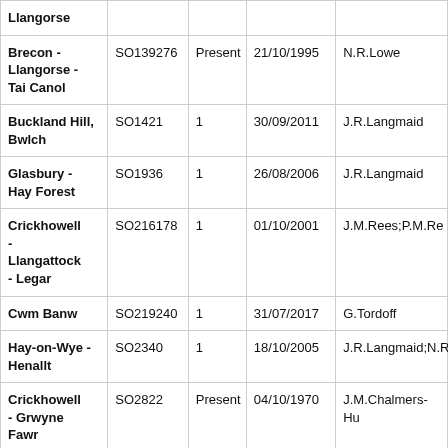| Location | Grid Ref | Count | Date | Observer |
| --- | --- | --- | --- | --- |
| Llangorse |  |  |  |  |
| Brecon - Llangorse - Tai Canol | SO139276 | Present | 21/10/1995 | N.R.Lowe |
| Buckland Hill, Bwlch | SO1421 | 1 | 30/09/2011 | J.R.Langmaid |
| Glasbury - Hay Forest | SO1936 | 1 | 26/08/2006 | J.R.Langmaid |
| Crickhowell - Llangattock - Legar | SO216178 | 1 | 01/10/2001 | J.M.Rees;P.M.Re… |
| Cwm Banw | SO219240 | 1 | 31/07/2017 | G.Tordoff |
| Hay-on-Wye - Henallt | SO2340 | 1 | 18/10/2005 | J.R.Langmaid;N.R… |
| Crickhowell - Grwyne Fawr | SO2822 | Present | 04/10/1970 | J.M.Chalmers-Hu… |